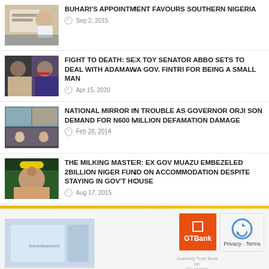[Figure (photo): Man in white signing document]
BUHARI'S APPOINTMENT FAVOURS SOUTHERN NIGERIA
Sep 2, 2015
[Figure (photo): Two men portraits side by side]
FIGHT TO DEATH: SEX TOY SENATOR ABBO SETS TO DEAL WITH ADAMAWA GOV. FINTRI FOR BEING A SMALL MAN
Apr 15, 2020
[Figure (photo): Multiple news images collage]
NATIONAL MIRROR IN TROUBLE AS GOVERNOR ORJI SON DEMAND FOR N600 MILLION DEFAMATION DAMAGE
Feb 28, 2014
[Figure (photo): Man in traditional hat at official setting]
THE MILKING MASTER: EX GOV MUAZU EMBEZELED 2BILLION NIGER FUND ON ACCOMMODATION DESPITE STAYING IN GOV'T HOUSE
Aug 17, 2015
[Figure (photo): Advertisement image and GTBank/reCAPTCHA logos]